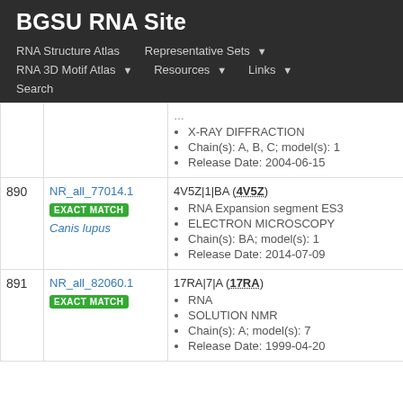BGSU RNA Site
RNA Structure Atlas | Representative Sets ▾ | RNA 3D Motif Atlas ▾ | Resources ▾ | Links ▾ | Search
| # | ID | Details |
| --- | --- | --- |
|  |  | X-RAY DIFFRACTION
Chain(s): A, B, C; model(s): 1
Release Date: 2004-06-15 |
| 890 | NR_all_77014.1
EXACT MATCH
Canis lupus | 4V5Z|1|BA (4V5Z)
RNA Expansion segment ES3
ELECTRON MICROSCOPY
Chain(s): BA; model(s): 1
Release Date: 2014-07-09 |
| 891 | NR_all_82060.1
EXACT MATCH | 17RA|7|A (17RA)
RNA
SOLUTION NMR
Chain(s): A; model(s): 7
Release Date: 1999-04-20 |